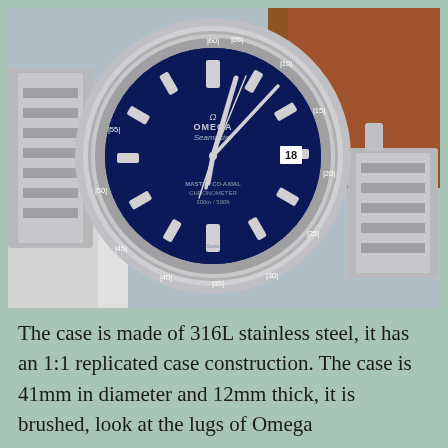[Figure (photo): Close-up photo of an Omega Seamaster watch with blue dial showing teak-pattern vertical lines, silver-tone markers, and stainless steel bracelet. The dial reads 'OMEGA Seamaster' and 'MASTER CO-AXIAL CHRONOMETER 300m/500ft'. The minute markers around the bezel show numerals including 10, 15, 18, 20, 25, 30, 35, 40, 45, 50, 55, 60, 105.]
The case is made of 316L stainless steel, it has an 1:1 replicated case construction. The case is 41mm in diameter and 12mm thick, it is brushed, look at the lugs of Omega